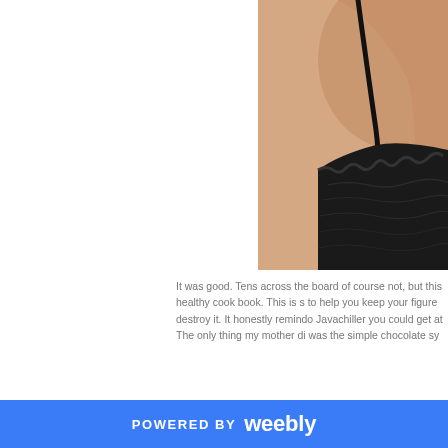[Figure (photo): Close-up photo of a person's back/shoulder area wearing a black spaghetti-strap top, with blonde hair visible. Skin tone is visible on back and shoulder. Photo is cropped, showing partial view.]
It was good. Tens across the board of course not, but this healthy cook book. This is s to help you keep your figure destroy it. It honestly remindo Javachiller you could get at The only thing my mother di was the simple chocolate sy
POWERED BY weebly